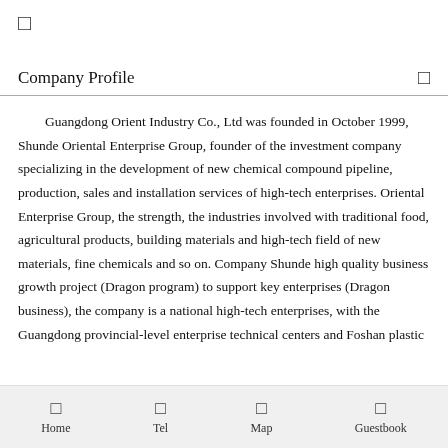[Figure (other): Small square icon at top left]
Company Profile
Guangdong Orient Industry Co., Ltd was founded in October 1999, Shunde Oriental Enterprise Group, founder of the investment company specializing in the development of new chemical compound pipeline, production, sales and installation services of high-tech enterprises. Oriental Enterprise Group, the strength, the industries involved with traditional food, agricultural products, building materials and high-tech field of new materials, fine chemicals and so on. Company Shunde high quality business growth project (Dragon program) to support key enterprises (Dragon business), the company is a national high-tech enterprises, with the Guangdong provincial-level enterprise technical centers and Foshan plastic
Home   Tel   Map   Guestbook